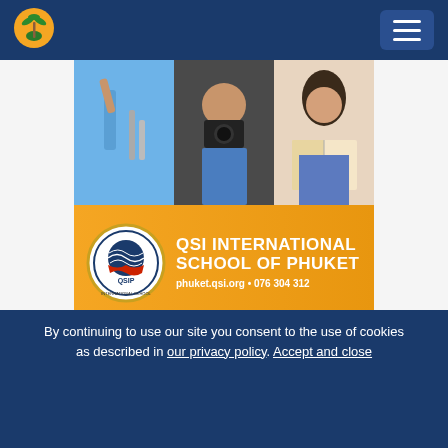[Figure (logo): Palm tree logo circle in yellow/orange on dark blue background]
[Figure (photo): Collage of school children - student raising hand in class, boy with camera, girl reading book]
[Figure (infographic): QSI International School of Phuket advertisement banner with school seal logo on orange background. Text: QSI INTERNATIONAL SCHOOL OF PHUKET, phuket.qsi.org • 076 304 312]
[Figure (logo): Dark navy blue banner with QSI organization logo - white and gold figure design with globe]
By continuing to use our site you consent to the use of cookies as described in our privacy policy. Accept and close